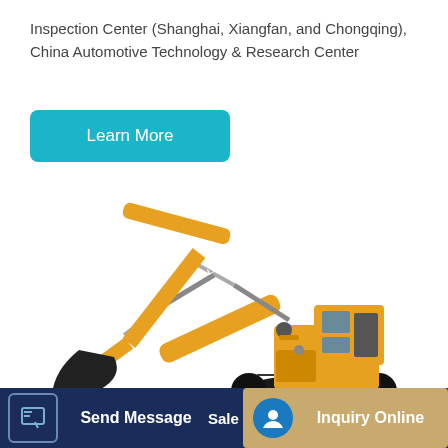Inspection Center (Shanghai, Xiangfan, and Chongqing), China Automotive Technology & Research Center
[Figure (other): A teal/cyan rounded rectangle button labeled 'Learn More']
[Figure (photo): A yellow LiuGong excavator/crawler excavator with black bucket and tracks, facing left, on white background]
[Figure (other): Bottom navigation bar with 'Send Message' button on dark blue background and 'Inquiry Online' button on tan/gold background, with icons]